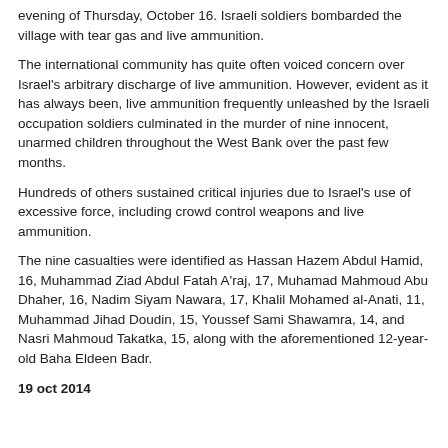evening of Thursday, October 16. Israeli soldiers bombarded the village with tear gas and live ammunition.
The international community has quite often voiced concern over Israel's arbitrary discharge of live ammunition. However, evident as it has always been, live ammunition frequently unleashed by the Israeli occupation soldiers culminated in the murder of nine innocent, unarmed children throughout the West Bank over the past few months.
Hundreds of others sustained critical injuries due to Israel's use of excessive force, including crowd control weapons and live ammunition.
The nine casualties were identified as Hassan Hazem Abdul Hamid, 16, Muhammad Ziad Abdul Fatah A'raj, 17, Muhamad Mahmoud Abu Dhaher, 16, Nadim Siyam Nawara, 17, Khalil Mohamed al-Anati, 11, Muhammad Jihad Doudin, 15, Youssef Sami Shawamra, 14, and Nasri Mahmoud Takatka, 15, along with the aforementioned 12-year-old Baha Eldeen Badr.
19 oct 2014